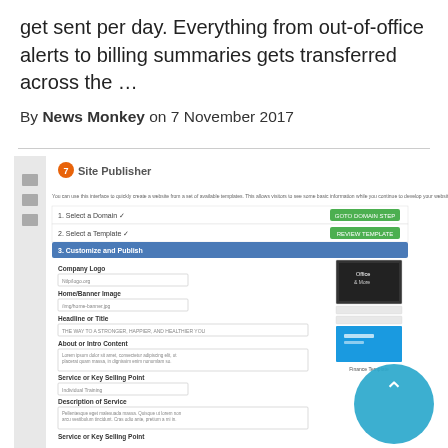get sent per day. Everything from out-of-office alerts to billing summaries gets transferred across the …
By News Monkey on 7 November 2017
[Figure (screenshot): Screenshot of a Site Publisher interface showing domain selection, template selection, and customization/publish steps with form fields for Company Logo, Home/Banner Image, Headline or Title, About or Intro Content, Service or Key Selling Point, Description of Service sections, and template previews on the right side.]